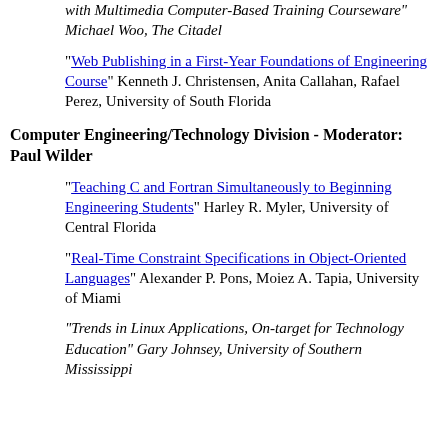with Multimedia Computer-Based Training Courseware" Michael Woo, The Citadel
"Web Publishing in a First-Year Foundations of Engineering Course" Kenneth J. Christensen, Anita Callahan, Rafael Perez, University of South Florida
Computer Engineering/Technology Division - Moderator: Paul Wilder
"Teaching C and Fortran Simultaneously to Beginning Engineering Students" Harley R. Myler, University of Central Florida
"Real-Time Constraint Specifications in Object-Oriented Languages" Alexander P. Pons, Moiez A. Tapia, University of Miami
"Trends in Linux Applications, On-target for Technology Education" Gary Johnsey, University of Southern Mississippi